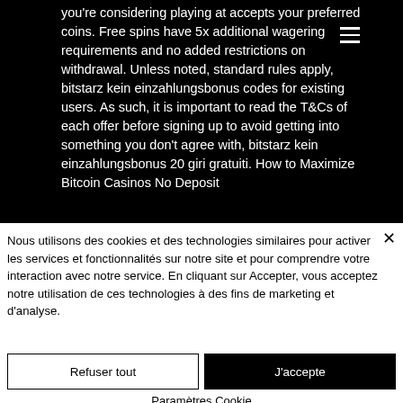[Figure (screenshot): Screenshot of a website with black background showing text about Bitcoin casino bonuses]
you're considering playing at accepts your preferred coins. Free spins have 5x additional wagering requirements and no added restrictions on withdrawal. Unless noted, standard rules apply, bitstarz kein einzahlungsbonus codes for existing users. As such, it is important to read the T&Cs of each offer before signing up to avoid getting into something you don't agree with, bitstarz kein einzahlungsbonus 20 giri gratuiti. How to Maximize Bitcoin Casinos No Deposit...
Nous utilisons des cookies et des technologies similaires pour activer les services et fonctionnalités sur notre site et pour comprendre votre interaction avec notre service. En cliquant sur Accepter, vous acceptez notre utilisation de ces technologies à des fins de marketing et d'analyse.
Refuser tout
J'accepte
Paramètres Cookie